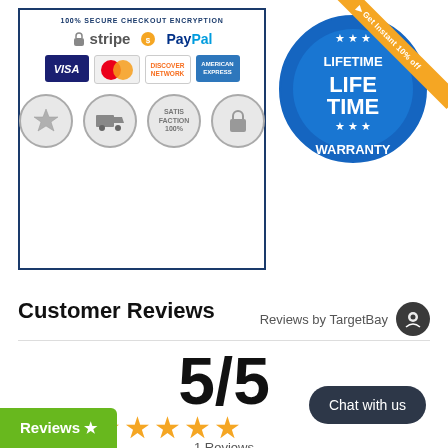[Figure (infographic): Secure checkout encryption badge with Stripe, PayPal, Visa, Mastercard, Discover, American Express logos and trust badges]
[Figure (infographic): Lifetime Warranty circular badge in blue and white]
[Figure (infographic): Orange diagonal ribbon banner saying Get Instant 10% off]
Customer Reviews
Reviews by TargetBay
5/5
[Figure (infographic): Five gold star rating]
1 Reviews
Chat with us
Reviews ★